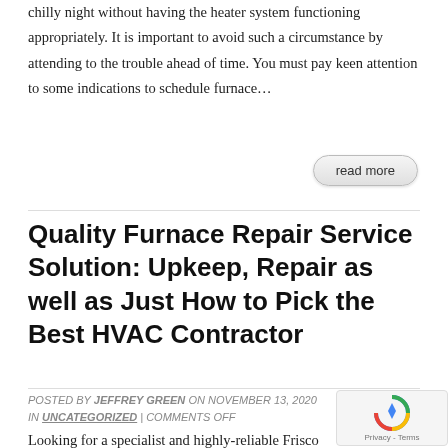chilly night without having the heater system functioning appropriately. It is important to avoid such a circumstance by attending to the trouble ahead of time. You must pay keen attention to some indications to schedule furnace…
read more
Quality Furnace Repair Service Solution: Upkeep, Repair as well as Just How to Pick the Best HVAC Contractor
POSTED BY JEFFREY GREEN ON NOVEMBER 13, 2020 IN UNCATEGORIZED | COMMENTS OFF
Looking for a specialist and highly-reliable Frisco